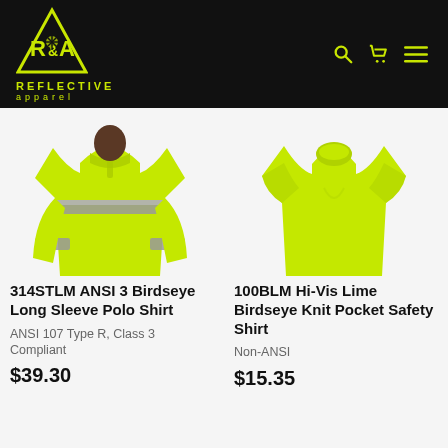[Figure (logo): Reflective Apparel yellow/green logo on black header with R&A triangle symbol]
[Figure (photo): Hi-vis lime long sleeve polo shirt with reflective stripes, worn by a person]
314STLM ANSI 3 Birdseye Long Sleeve Polo Shirt
ANSI 107 Type R, Class 3 Compliant
$39.30
[Figure (photo): Hi-vis lime short sleeve t-shirt (plain, no reflective stripes)]
100BLM Hi-Vis Lime Birdseye Knit Pocket Safety Shirt
Non-ANSI
$15.35